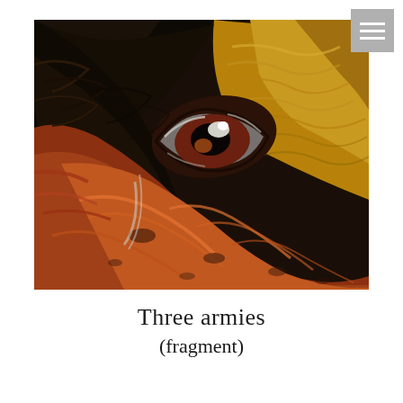[Figure (illustration): Close-up painting of an animal eye (possibly a horse or large mammal), showing dramatic swirls of black, dark brown, orange, red, and golden yellow paint. The eye is rendered with white highlights and dark pupil, surrounded by richly textured abstract paint strokes suggesting fur or skin. The composition is intense and expressionistic.]
Three armies
(fragment)